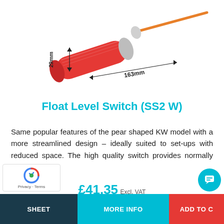[Figure (photo): Float Level Switch (SS2 W) product photo — a red cylindrical float switch with orange cable, dimensions 163mm length and 29mm diameter indicated with arrows]
Float Level Switch (SS2 W)
Same popular features of the pear shaped KW model with a more streamlined design – ideally suited to set-ups with reduced space. The high quality switch provides normally open or...
£41.35 Excl. VAT
SHEET  MORE INFO  ADD TO C